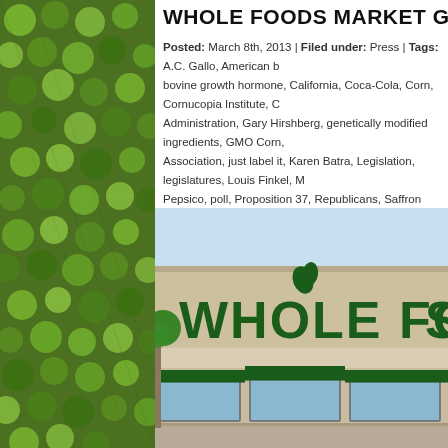[Figure (photo): Aerial satellite view of circular irrigated farm fields in green mosaic pattern used as sidebar background]
Posted: March 8th, 2013 | Filed under: Press | Tags: A.C. Gallo, American b bovine growth hormone, California, Coca-Cola, Corn, Cornucopia Institute, C Administration, Gary Hirshberg, genetically modified ingredients, GMO Corn, Association, just label it, Karen Batra, Legislation, legislatures, Louis Finkel, M Pepsico, poll, Proposition 37, Republicans, Saffron Road, Soybeans, twitter, T World Health Organization |
[Figure (photo): Exterior photo of a Whole Foods Market store building showing the large green letter sign WHOLE FOODS on a beige/tan building facade with dark green awnings over the entrance windows]